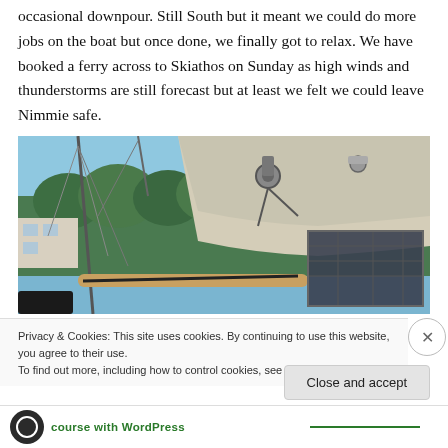occasional downpour. Still South but it meant we could do more jobs on the boat but once done, we finally got to relax. We have booked a ferry across to Skiathos on Sunday as high winds and thunderstorms are still forecast but at least we felt we could leave Nimmie safe.
[Figure (photo): Photo of a sailboat mast, rigging, boom, and solar panels, with trees and blue sky in the background at a marina.]
Privacy & Cookies: This site uses cookies. By continuing to use this website, you agree to their use.
To find out more, including how to control cookies, see here: Cookie Policy
Close and accept
course with WordPress